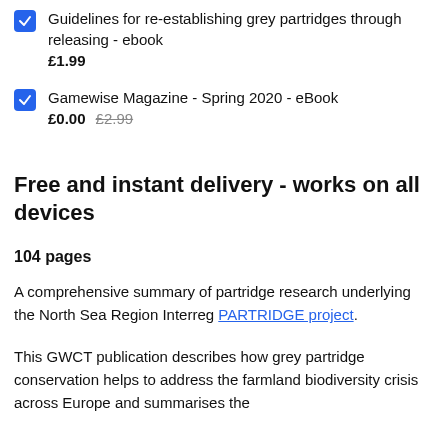Guidelines for re-establishing grey partridges through releasing - ebook
£1.99
Gamewise Magazine - Spring 2020 - eBook
£0.00  £2.99
Free and instant delivery - works on all devices
104 pages
A comprehensive summary of partridge research underlying the North Sea Region Interreg PARTRIDGE project.
This GWCT publication describes how grey partridge conservation helps to address the farmland biodiversity crisis across Europe and summarises the